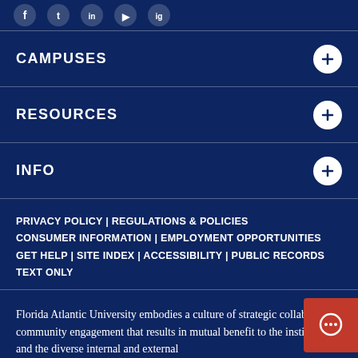[Figure (other): Social media icons (Facebook, Twitter, etc.) displayed as white circles on dark blue background]
CAMPUSES
RESOURCES
INFO
PRIVACY POLICY | REGULATIONS & POLICIES CONSUMER INFORMATION | EMPLOYMENT OPPORTUNITIES GET HELP | SITE INDEX | ACCESSIBILITY | PUBLIC RECORDS TEXT ONLY
Florida Atlantic University embodies a culture of strategic collaborative community engagement that results in mutual benefit to the institution and the diverse internal and external